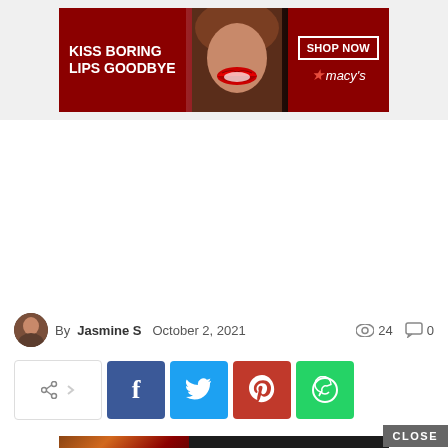[Figure (screenshot): Macy's advertisement banner: 'KISS BORING LIPS GOODBYE' with a woman's red lips photo and 'SHOP NOW ★ macy's' button on dark red background.]
By Jasmine S  October 2, 2021   👁 24  💬 0
[Figure (screenshot): Social media share buttons row: share toggle icon with arrow, then Facebook (blue), Twitter (cyan), Pinterest (red), WhatsApp (green) icon buttons.]
[Figure (screenshot): Seamless food delivery advertisement: pizza image on left, 'seamless' red brand label in center, 'ORDER NOW' button outline on right, dark background. With 'CLOSE' button above.]